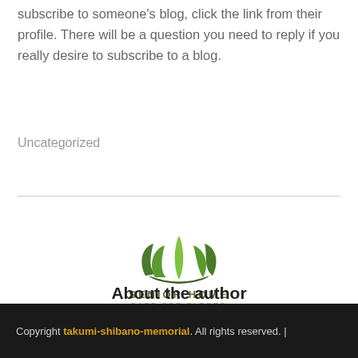subscribe to someone's blog, click the link from their profile. There will be a question you need to reply if you really desire to subscribe to a blog.
Uncategorized
[Figure (logo): Senior Home Care for Elders logo with green leaf/lotus graphic above the text SENIOR HOME and CARE FOR ELDERS]
About the author
Copyright takumi-shibano-memorial. All rights reserved. |